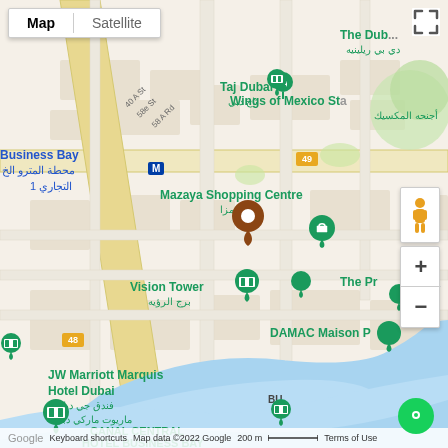[Figure (map): Google Maps view of Business Bay area in Dubai, UAE, showing streets, Dubai Canal (blue waterway), and various landmarks including Taj Dubai, Business Bay Metro Station, Mazaya Shopping Centre, Vision Tower, JW Marriott Marquis Hotel Dubai, DAMAC Maison, Wings of Mexico Statue, Canal Central Hotel Business Bay. A brown location pin is shown in the center. Map data ©2022 Google, scale bar 200m.]